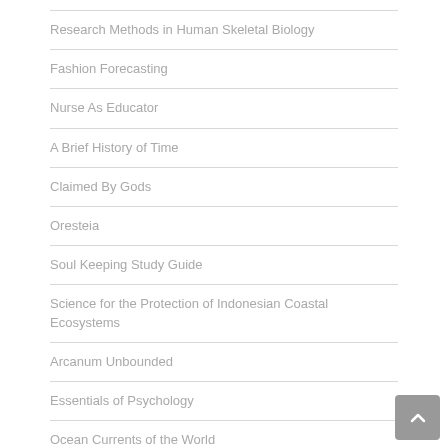Research Methods in Human Skeletal Biology
Fashion Forecasting
Nurse As Educator
A Brief History of Time
Claimed By Gods
Oresteia
Soul Keeping Study Guide
Science for the Protection of Indonesian Coastal Ecosystems
Arcanum Unbounded
Essentials of Psychology
Ocean Currents of the World